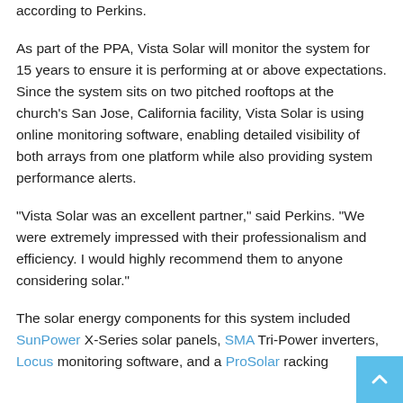according to Perkins.
As part of the PPA, Vista Solar will monitor the system for 15 years to ensure it is performing at or above expectations. Since the system sits on two pitched rooftops at the church's San Jose, California facility, Vista Solar is using online monitoring software, enabling detailed visibility of both arrays from one platform while also providing system performance alerts.
“Vista Solar was an excellent partner,” said Perkins. “We were extremely impressed with their professionalism and efficiency. I would highly recommend them to anyone considering solar.”
The solar energy components for this system included SunPower X-Series solar panels, SMA Tri-Power inverters, Locus monitoring software, and a ProSolar racking